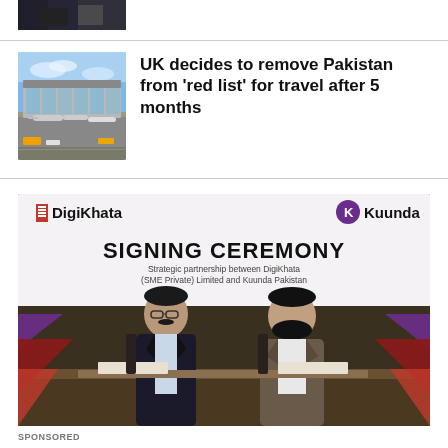[Figure (photo): Cropped top of a photo showing a person in a suit]
UK decides to remove Pakistan from 'red list' for travel after 5 months
[Figure (photo): Airport terminal building with planes on tarmac under cloudy blue sky]
[Figure (photo): Signing ceremony photo showing two men seated at a table in front of a banner reading DigiKhata and Kuunda SIGNING CEREMONY, Strategic partnership between DigiKhata (SME Private) Limited and Kuunda Pakistan]
SPONSORED